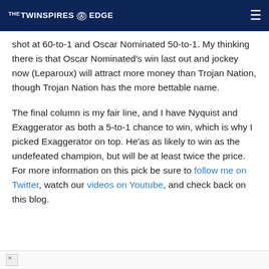THE TWINSPIRES ® EDGE
shot at 60-to-1 and Oscar Nominated 50-to-1. My thinking there is that Oscar Nominated's win last out and jockey now (Leparoux) will attract more money than Trojan Nation, though Trojan Nation has the more bettable name.
The final column is my fair line, and I have Nyquist and Exaggerator as both a 5-to-1 chance to win, which is why I picked Exaggerator on top. He'as as likely to win as the undefeated champion, but will be at least twice the price. For more information on this pick be sure to follow me on Twitter, watch our videos on Youtube, and check back on this blog.